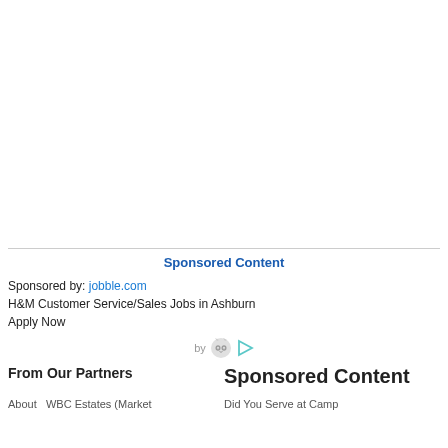Sponsored Content
Sponsored by: jobble.com
H&M Customer Service/Sales Jobs in Ashburn
Apply Now
by
From Our Partners
Sponsored Content
About WBC Estates (Market
Did You Serve at Camp